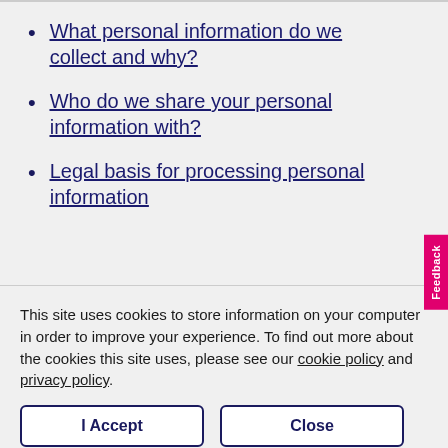What personal information do we collect and why?
Who do we share your personal information with?
Legal basis for processing personal information
This site uses cookies to store information on your computer in order to improve your experience. To find out more about the cookies this site uses, please see our cookie policy and privacy policy.
I Accept
Close